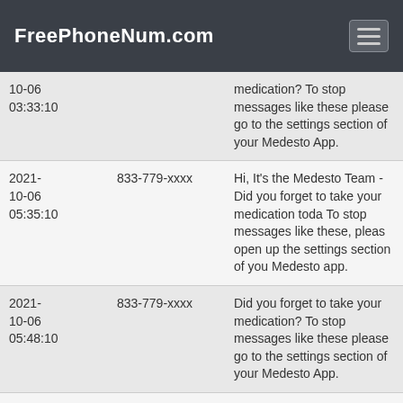FreePhoneNum.com
| Date | Number | Message |
| --- | --- | --- |
| 10-06 03:33:10 |  | medication? To stop messages like these please go to the settings section of your Medesto App. |
| 2021-10-06 05:35:10 | 833-779-xxxx | Hi, It's the Medesto Team - Did you forget to take your medication toda To stop messages like these, pleas open up the settings section of you Medesto app. |
| 2021-10-06 05:48:10 | 833-779-xxxx | Did you forget to take your medication? To stop messages like these please go to the settings section of your Medesto App. |
| 2021-10-06 07:50:10 | 833-779-xxxx | Hi, It's the Medesto Team - Did you forget to take your medication toda To stop messages like these, pleas open up the settings section of you Medesto app. |
| 2021-10-07 03:33:20 | 833-779-xxxx | Did you forget to take your medication? To stop messages like these please go to the settings |